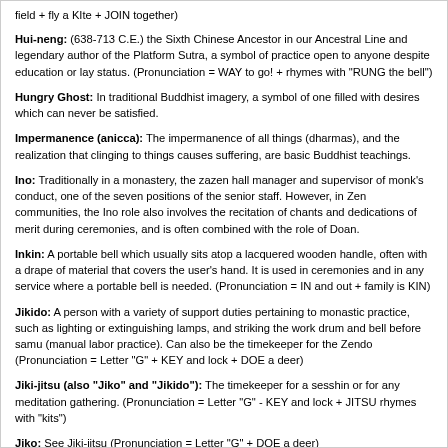field + fly a KIte + JOIN together)
Hui-neng: (638-713 C.E.) the Sixth Chinese Ancestor in our Ancestral Line and legendary author of the Platform Sutra, a symbol of practice open to anyone despite education or lay status. (Pronunciation = WAY to go! + rhymes with "RUNG the bell")
Hungry Ghost: In traditional Buddhist imagery, a symbol of one filled with desires which can never be satisfied.
Impermanence (anicca): The impermanence of all things (dharmas), and the realization that clinging to things causes suffering, are basic Buddhist teachings.
Ino: Traditionally in a monastery, the zazen hall manager and supervisor of monk's conduct, one of the seven positions of the senior staff. However, in Zen communities, the Ino role also involves the recitation of chants and dedications of merit during ceremonies, and is often combined with the role of Doan.
Inkin: A portable bell which usually sits atop a lacquered wooden handle, often with a drape of material that covers the user's hand. It is used in ceremonies and in any service where a portable bell is needed. (Pronunciation = IN and out + family is KIN)
Jikido: A person with a variety of support duties pertaining to monastic practice, such as lighting or extinguishing lamps, and striking the work drum and bell before samu (manual labor practice). Can also be the timekeeper for the Zendo (Pronunciation = Letter "G" + KEY and lock + DOE a deer)
Jiki-jitsu (also "Jiko" and "Jikido"): The timekeeper for a sesshin or for any meditation gathering. (Pronunciation = Letter "G" - KEY and lock + JITSU rhymes with "kits")
Jiko: See Jiki-jitsu (Pronunciation = Letter "G" + DOE a deer)
Jisha: The Jisha is the attendant to the Doshi during service. During daily service, the Jisha presents an incense stick for the Doshi's offering at the altar as carries other items for Roshi, Abbot or Roshi.